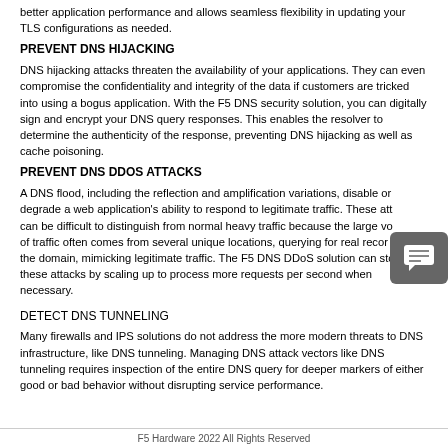better application performance and allows seamless flexibility in updating your TLS configurations as needed.
PREVENT DNS HIJACKING
DNS hijacking attacks threaten the availability of your applications. They can even compromise the confidentiality and integrity of the data if customers are tricked into using a bogus application. With the F5 DNS security solution, you can digitally sign and encrypt your DNS query responses. This enables the resolver to determine the authenticity of the response, preventing DNS hijacking as well as cache poisoning.
PREVENT DNS DDOS ATTACKS
A DNS flood, including the reflection and amplification variations, disable or degrade a web application's ability to respond to legitimate traffic. These attacks can be difficult to distinguish from normal heavy traffic because the large volume of traffic often comes from several unique locations, querying for real records of the domain, mimicking legitimate traffic. The F5 DNS DDoS solution can stop these attacks by scaling up to process more requests per second when necessary.
DETECT DNS TUNNELING
Many firewalls and IPS solutions do not address the more modern threats to DNS infrastructure, like DNS tunneling. Managing DNS attack vectors like DNS tunneling requires inspection of the entire DNS query for deeper markers of either good or bad behavior without disrupting service performance.
F5 Hardware 2022 All Rights Reserved